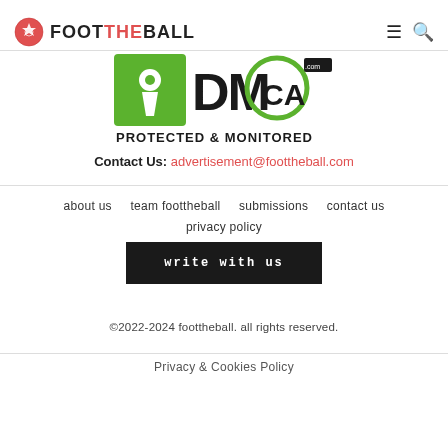FOOT THE BALL
[Figure (logo): DMCA.com Protected & Monitored badge logo with keyhole icon, green and black]
Contact Us: advertisement@foottheball.com
about us
team foottheball
submissions
contact us
privacy policy
write with us
©2022-2024 foottheball. all rights reserved.
Privacy & Cookies Policy